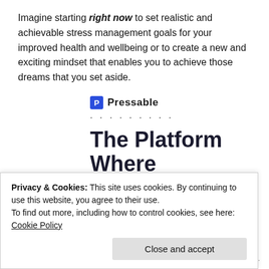Imagine starting right now to set realistic and achievable stress management goals for your improved health and wellbeing or to create a new and exciting mindset that enables you to achieve those dreams that you set aside.
[Figure (logo): Pressable logo with icon and name, followed by a row of dots]
The Platform Where WordPress Works Best
[Figure (screenshot): SEE PRICING button (blue, partially visible)]
Privacy & Cookies: This site uses cookies. By continuing to use this website, you agree to their use.
To find out more, including how to control cookies, see here: Cookie Policy
Close and accept
Follow ...